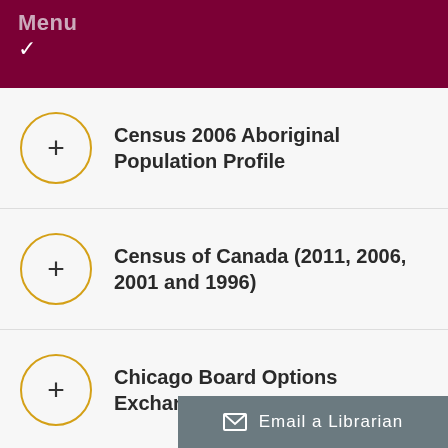Menu ✓
Census 2006 Aboriginal Population Profile
Census of Canada (2011, 2006, 2001 and 1996)
Chicago Board Options Exchange
Email a Librarian